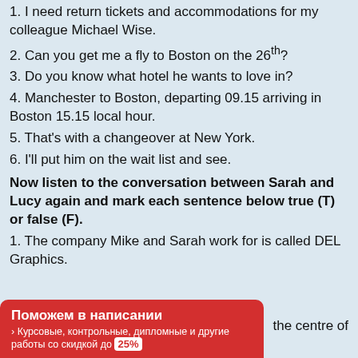1. I need return tickets and accommodations for my colleague Michael Wise.
2. Can you get me a fly to Boston on the 26th?
3. Do you know what hotel he wants to love in?
4. Manchester to Boston, departing 09.15 arriving in Boston 15.15 local hour.
5. That's with a changeover at New York.
6. I'll put him on the wait list and see.
Now listen to the conversation between Sarah and Lucy again and mark each sentence below true (T) or false (F).
1. The company Mike and Sarah work for is called DEL Graphics.
the centre of
[Figure (other): Red advertisement banner: Поможем в написании › Курсовые, контрольные, дипломные и другие работы со скидкой до 25%]